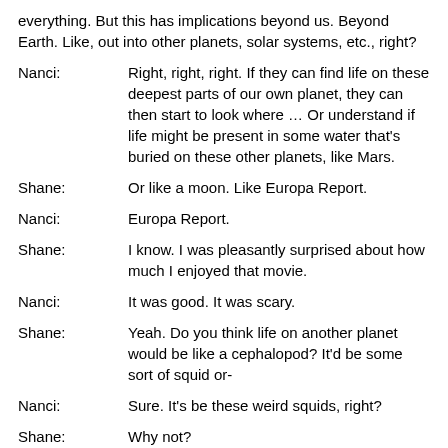everything. But this has implications beyond us. Beyond Earth. Like, out into other planets, solar systems, etc., right?
Nanci: Right, right, right. If they can find life on these deepest parts of our own planet, they can then start to look where … Or understand if life might be present in some water that's buried on these other planets, like Mars.
Shane: Or like a moon. Like Europa Report.
Nanci: Europa Report.
Shane: I know. I was pleasantly surprised about how much I enjoyed that movie.
Nanci: It was good. It was scary.
Shane: Yeah. Do you think life on another planet would be like a cephalopod? It'd be some sort of squid or-
Nanci: Sure. It's be these weird squids, right?
Shane: Why not?
Nanci: That came out from under the ice?
Shane: Yeah. Yeah.
Nanci: Yeah.
Shane: Yeah, why not?